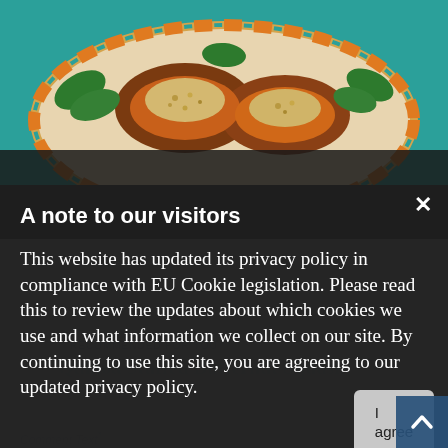[Figure (photo): Food photo showing a decorated plate with stuffed butternut squash topped with quinoa and garnished with basil leaves on a teal background]
A note to our visitors
This website has updated its privacy policy in compliance with EU Cookie legislation. Please read this to review the updates about which cookies we use and what information we collect on our site. By continuing to use this site, you are agreeing to our updated privacy policy.